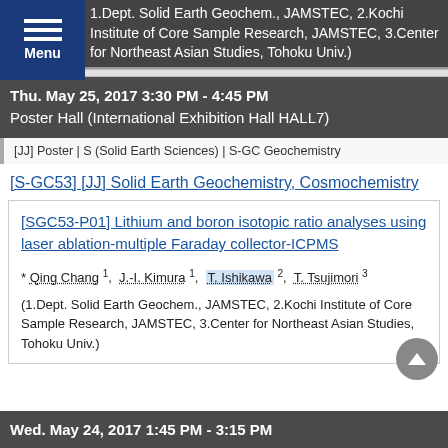1.Dept. Solid Earth Geochem., JAMSTEC, 2.Kochi Institute of Core Sample Research, JAMSTEC, 3.Center for Northeast Asian Studies, Tohoku Univ.)
Thu. May 25, 2017 3:30 PM - 4:45 PM
Poster Hall (International Exhibition Hall HALL7)
[JJ] Poster | S (Solid Earth Sciences) | S-GC Geochemistry
[S-GC53] [JJ] Solid Earth Geochemistry, Cosmochemistry
[SGC53-P01] Lithium and boron isotopic ratio analyses using laser ablation-multiple Faraday collector-ICPMS
* Qing Chang 1, J.-I. Kimura 1, T. Ishikawa 2, T. Tsujimori 3
(1.Dept. Solid Earth Geochem., JAMSTEC, 2.Kochi Institute of Core Sample Research, JAMSTEC, 3.Center for Northeast Asian Studies, Tohoku Univ.)
Wed. May 24, 2017 1:45 PM - 3:15 PM